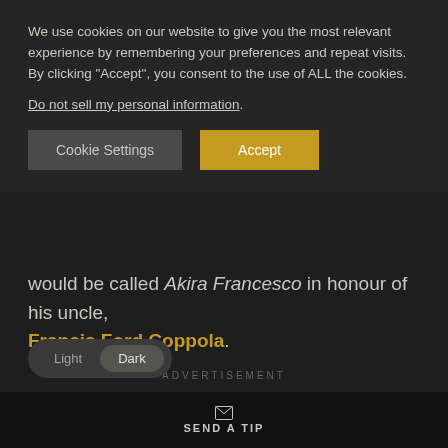We use cookies on our website to give you the most relevant experience by remembering your preferences and repeat visits. By clicking "Accept", you consent to the use of ALL the cookies.
Do not sell my personal information.
Cookie Settings | Accept
would be called Akira Francesco in honour of his uncle, Francis Ford Coppola.
ADVERTISEMENT
Light  Dark
SEND A TIP